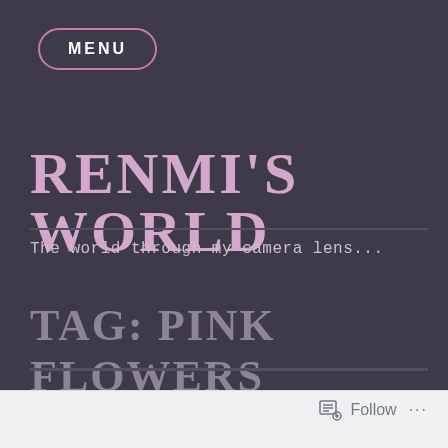MENU
RENMI'S WORLD
The world through my camera lens...
TAG: PINK FLOWERS
Follow ...